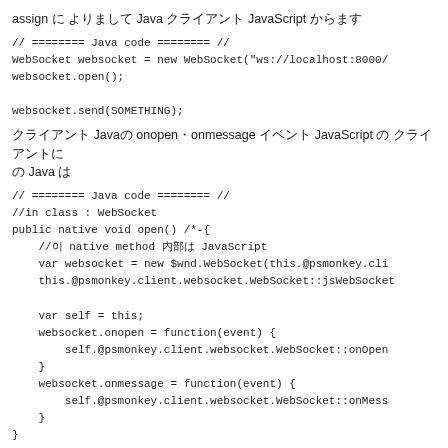assign に よりまして Java クライアント JavaScript からます
[Figure (screenshot): Code block: Java code comment and WebSocket instantiation and open call]
クライアント Javaの onopen・onmessage イベント JavaScript の クライアントに の Java は
[Figure (screenshot): Code block: Java class WebSocket native method implementation with JavaScript interop via onopen and onmessage callbacks]